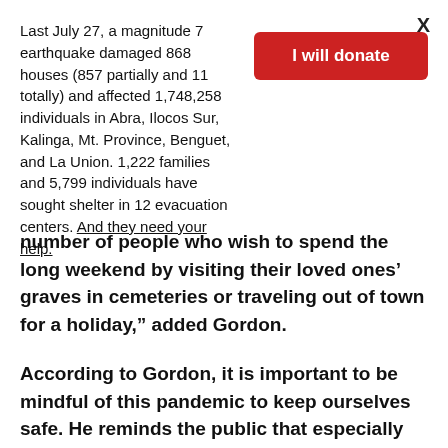Last July 27, a magnitude 7 earthquake damaged 868 houses (857 partially and 11 totally) and affected 1,748,258 individuals in Abra, Ilocos Sur, Kalinga, Mt. Province, Benguet, and La Union. 1,222 families and 5,799 individuals have sought shelter in 12 evacuation centers. And they need your help.
I will donate
number of people who wish to spend the long weekend by visiting their loved ones’ graves in cemeteries or traveling out of town for a holiday,” added Gordon.
According to Gordon, it is important to be mindful of this pandemic to keep ourselves safe. He reminds the public that especially when you are out in public, traveling, or in a gathering, one should always take note of: hand hygiene, wearing face masks properly